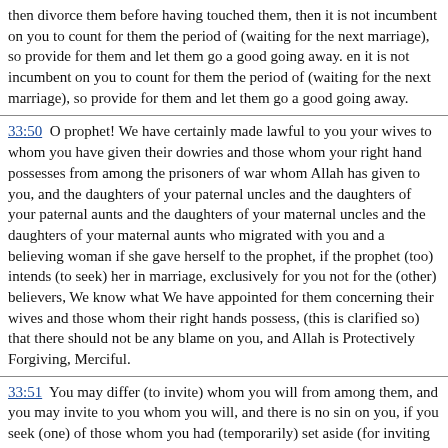then divorce them before having touched them, then it is not incumbent on you to count for them the period of (waiting for the next marriage), so provide for them and let them go a good going away. en it is not incumbent on you to count for them the period of (waiting for the next marriage), so provide for them and let them go a good going away.
33:50  O prophet! We have certainly made lawful to you your wives to whom you have given their dowries and those whom your right hand possesses from among the prisoners of war whom Allah has given to you, and the daughters of your paternal uncles and the daughters of your paternal aunts and the daughters of your maternal uncles and the daughters of your maternal aunts who migrated with you and a believing woman if she gave herself to the prophet, if the prophet (too) intends (to seek) her in marriage, exclusively for you not for the (other) believers, We know what We have appointed for them concerning their wives and those whom their right hands possess, (this is clarified so) that there should not be any blame on you, and Allah is Protectively Forgiving, Merciful.
33:51  You may differ (to invite) whom you will from among them, and you may invite to you whom you will, and there is no sin on you, if you seek (one) of those whom you had (temporarily) set aside (for inviting in future), that is nearer for (providing them with) comfort of their eyes and that they may not